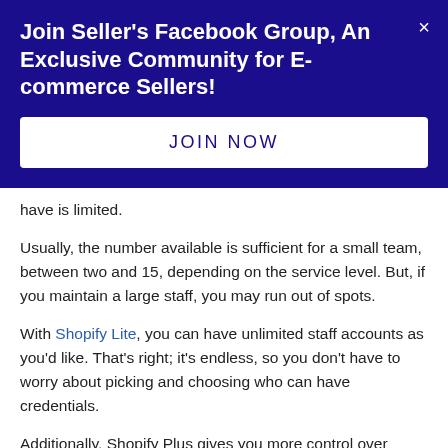Join Seller's Facebook Group, An Exclusive Community for E-commerce Sellers!
JOIN NOW
have is limited.
Usually, the number available is sufficient for a small team, between two and 15, depending on the service level. But, if you maintain a large staff, you may run out of spots.
With Shopify Lite, you can have unlimited staff accounts as you'd like. That's right; it's endless, so you don't have to worry about picking and choosing who can have credentials.
Additionally, Shopify Plus gives you more control over